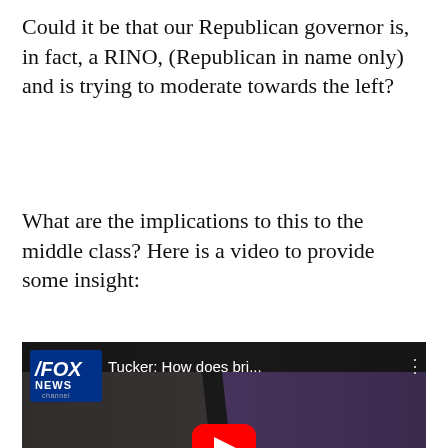Could it be that our Republican governor is, in fact, a RINO, (Republican in name only) and is trying to moderate towards the left?
What are the implications to this to the middle class? Here is a video to provide some insight:
[Figure (screenshot): YouTube video thumbnail showing a Fox News segment titled 'Tucker: How does bri...' with two people (a man in a suit on the left and a woman in a purple jacket on the right) and a red YouTube play button in the center.]
Just to be fair, let’s look at the flip side of this situation and hear what former President Obama said